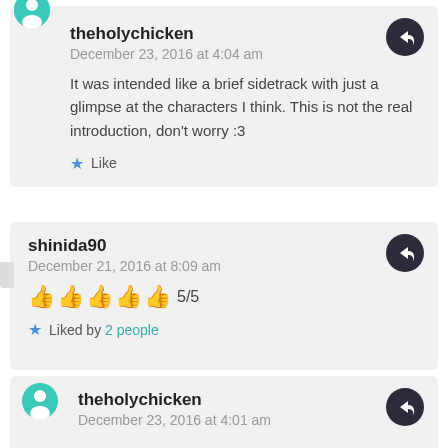theholychicken
December 23, 2016 at 4:04 am
It was intended like a brief sidetrack with just a glimpse at the characters I think. This is not the real introduction, don't worry :3
Like
shinida90
December 21, 2016 at 8:09 am
👍👍👍👍👍 5/5
Liked by 2 people
theholychicken
December 23, 2016 at 4:01 am